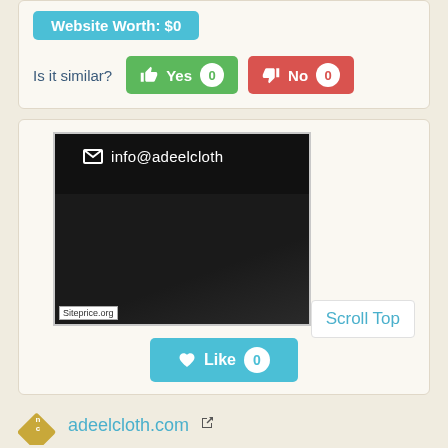Website Worth: $0
Is it similar?
Yes 0
No 0
[Figure (screenshot): Screenshot of adeelcloth.com showing dark background with email info@adeelcloth... and Siteprice.org watermark]
Scroll Top
Like 0
adeelcloth.com
home - adeel cloth